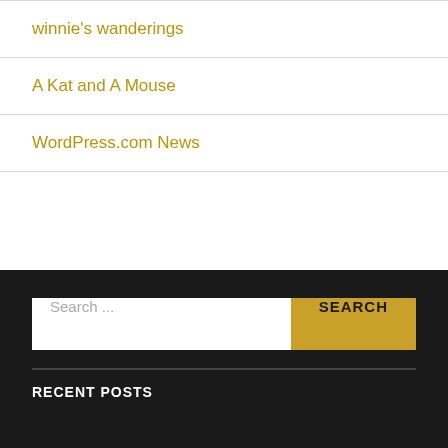winnie's wanderings
A Kat and A Mouse
WordPress.com News
Search ...
RECENT POSTS